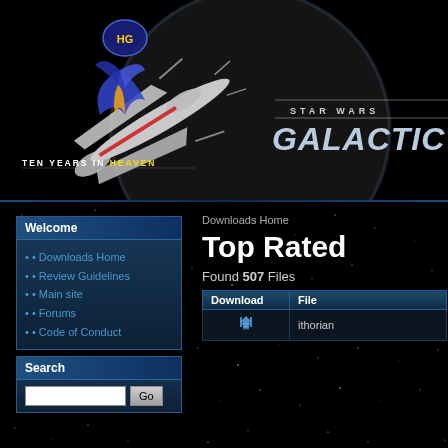[Figure (screenshot): Header banner with space starfield background, X-wing spacecraft on left, HG logo (blue/yellow), 'TEN YEARS IN HEAVEN' text, and 'STAR WARS GALACTIC' title text on right]
Welcome
Downloads Home
Review Guidelines
Main site
Forums
Code of Conduct
Search
Downloads Home
Top Rated
Found 507 Files
| Download | File |
| --- | --- |
| [icon] | ithorian |